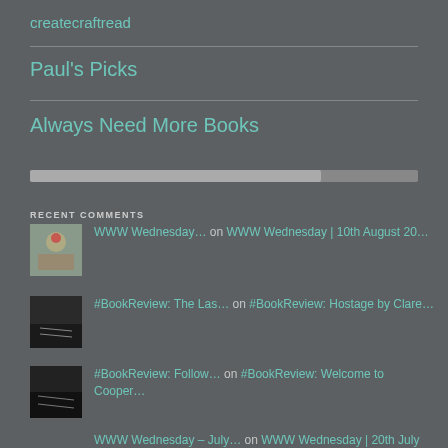createcraftread
Paul's Picks
Always Need More Books
RECENT COMMENTS
WWW Wednesday… on WWW Wednesday | 10th August 20…
#BookReview: The Las… on #BookReview: Hostage by Clare…
#BookReview: Follow… on #BookReview: Welcome to Cooper…
WWW Wednesday – July… on WWW Wednesday | 20th July 2022…
WWW Wednesday… on WWW Wednesday | 20th…